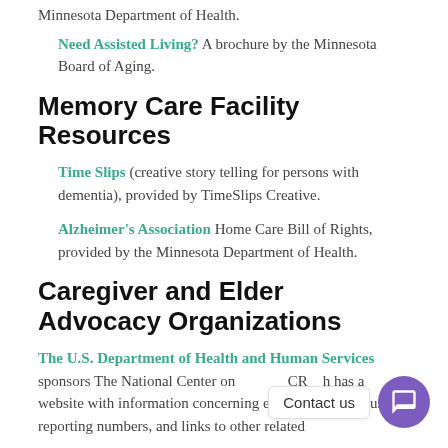Minnesota Department of Health.
Need Assisted Living? A brochure by the Minnesota Board of Aging.
Memory Care Facility Resources
Time Slips (creative story telling for persons with dementia), provided by TimeSlips Creative.
Alzheimer's Association Home Care Bill of Rights, provided by the Minnesota Department of Health.
Caregiver and Elder Advocacy Organizations
The U.S. Department of Health and Human Services sponsors The National Center on ... NCEA which has a website with information concerning elder abuse, elder abuse reporting numbers, and links to other related